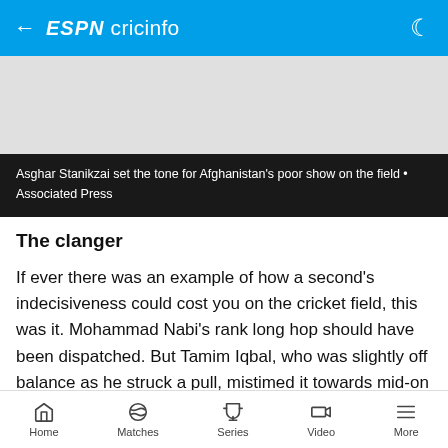ESPN cricinfo
[Figure (photo): Gray placeholder image area for a cricket photo]
Asghar Stanikzai set the tone for Afghanistan's poor show on the field • Associated Press
The clanger
If ever there was an example of how a second's indecisiveness could cost you on the cricket field, this was it. Mohammad Nabi's rank long hop should have been dispatched. But Tamim Iqbal, who was slightly off balance as he struck a pull, mistimed it towards mid-on where Asghar Stanikzai, the Afghanistan
Home  Matches  Series  Video  More